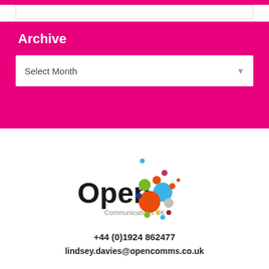Archive
Select Month
[Figure (logo): Open Communications UK logo with colorful circles]
+44 (0)1924 862477
lindsey.davies@opencomms.co.uk